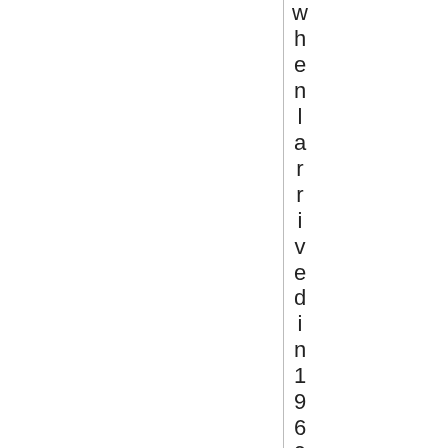whenlarrive din1969. At the time we we